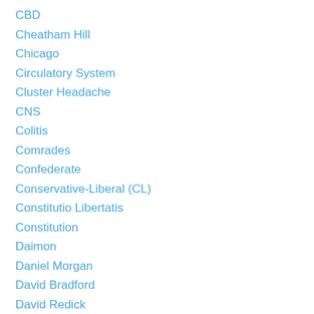CBD
Cheatham Hill
Chicago
Circulatory System
Cluster Headache
CNS
Colitis
Comrades
Confederate
Conservative-Liberal (CL)
Constitutio Libertatis
Constitution
Daimon
Daniel Morgan
David Bradford
David Redick
DC
Depression
Despotism
DHA
Disband